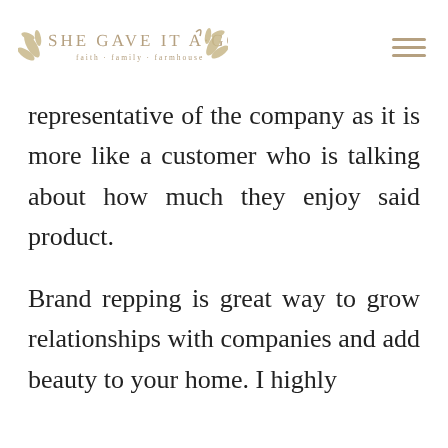SHE GAVE IT A GO · faith · family · farmhouse
representative of the company as it is more like a customer who is talking about how much they enjoy said product.
Brand repping is great way to grow relationships with companies and add beauty to your home. I highly